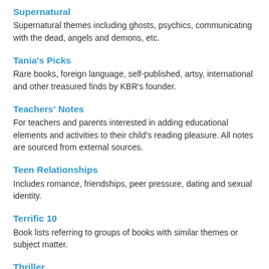Supernatural
Supernatural themes including ghosts, psychics, communicating with the dead, angels and demons, etc.
Tania's Picks
Rare books, foreign language, self-published, artsy, international and other treasured finds by KBR's founder.
Teachers' Notes
For teachers and parents interested in adding educational elements and activities to their child's reading pleasure. All notes are sourced from external sources.
Teen Relationships
Includes romance, friendships, peer pressure, dating and sexual identity.
Terrific 10
Book lists referring to groups of books with similar themes or subject matter.
Thriller